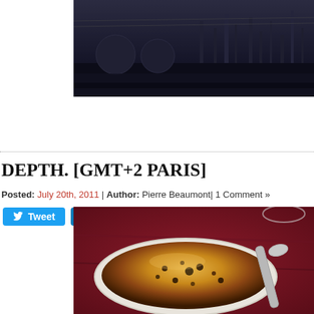[Figure (photo): Dark industrial scene with large spherical tanks and refinery towers against a dusky sky, photographed through a train or car window]
Tweet  Share
DEPTH. [GMT+2 PARIS]
Posted: July 20th, 2011 | Author: Pierre Beaumont| 1 Comment »
[Figure (photo): Close-up photo of a crème brûlée dessert in a white oval ramekin with caramelized browned sugar top and a spoon beside it, on a dark red tablecloth]